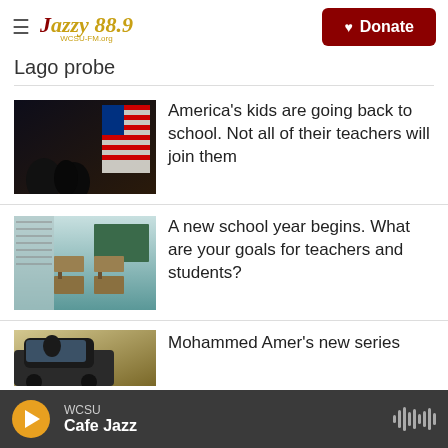≡ Jazzy 88.9 | Donate
Lago probe
[Figure (photo): Students silhouetted in classroom with American flag lit in window]
America's kids are going back to school. Not all of their teachers will join them
[Figure (photo): Empty classroom with rows of desks and chairs, chalkboard visible]
A new school year begins. What are your goals for teachers and students?
[Figure (photo): Person in car, partial view]
Mohammed Amer's new series
WCSU Cafe Jazz